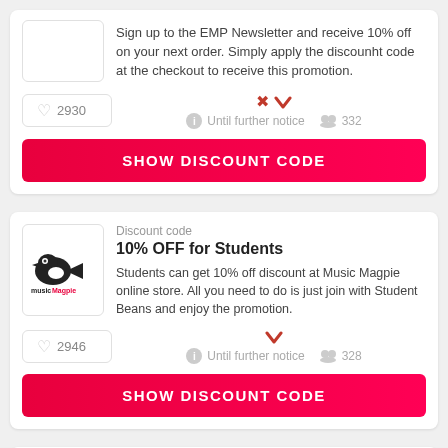Sign up to the EMP Newsletter and receive 10% off on your next order. Simply apply the discounht code at the checkout to receive this promotion.
2930
Until further notice   332
SHOW DISCOUNT CODE
Discount code
10% OFF for Students
Students can get 10% off discount at Music Magpie online store. All you need to do is just join with Student Beans and enjoy the promotion.
2946
Until further notice   328
SHOW DISCOUNT CODE
Discount code
Recommended